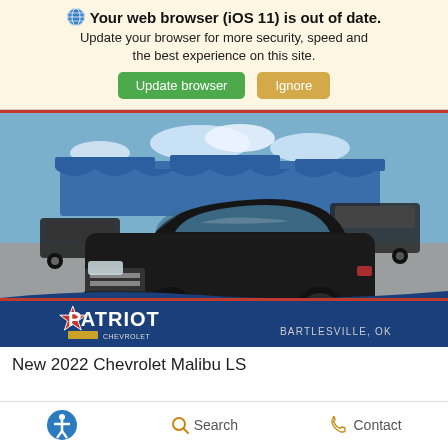Your web browser (iOS 11) is out of date. Update your browser for more security, speed and the best experience on this site.
Update browser  Ignore
[Figure (photo): Photo of a black 2022 Chevrolet Malibu LS at a dealership lot with blue canopies in background and a Patriot Chevrolet Bartlesville OK dealer overlay at the bottom]
New 2022 Chevrolet Malibu LS
Accessibility  Search  Contact